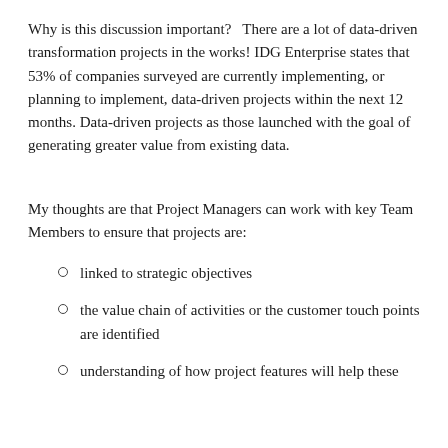Why is this discussion important?   There are a lot of data-driven transformation projects in the works! IDG Enterprise states that 53% of companies surveyed are currently implementing, or planning to implement, data-driven projects within the next 12 months. Data-driven projects as those launched with the goal of generating greater value from existing data.
My thoughts are that Project Managers can work with key Team Members to ensure that projects are:
linked to strategic objectives
the value chain of activities or the customer touch points are identified
understanding of how project features will help these